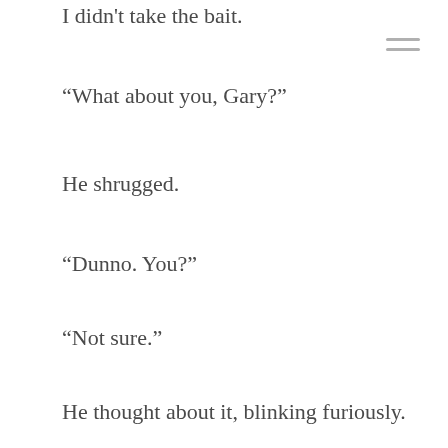I didn't take the bait.
“What about you, Gary?”
He shrugged.
“Dunno. You?”
“Not sure.”
He thought about it, blinking furiously.
“Let’s make a pact,” he suggested. “When one of us dies, if he’s a ghost, he has to